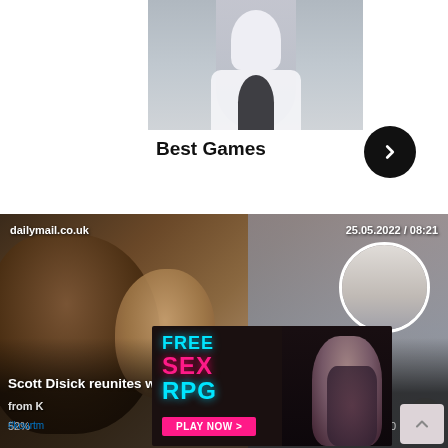[Figure (photo): Partial photo of a person in white top with black underneath, cropped at top]
Best Games
[Figure (photo): News card from dailymail.co.uk dated 25.05.2022 / 08:21 showing Scott Disick with kids. Headline: Scott Disick reunites with kids after they returned from Kourtney Kardashian's wedding in Italy]
[Figure (advertisement): Ad overlay: FREE SEX RPG - PLAY NOW >]
#kourtney...